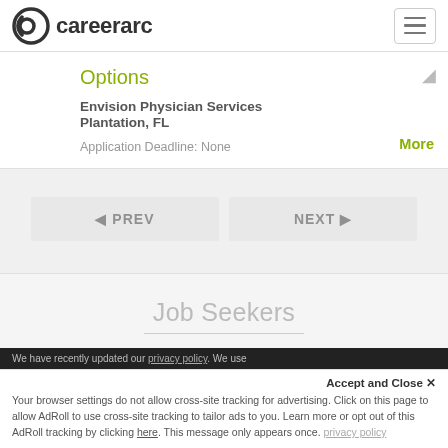careerarc
Options
Envision Physician Services
Plantation, FL
Application Deadline: None
More
◄ PREV    NEXT ►
Job Seekers
We have recently updated our privacy policy. We use...
Accept and Close ✕
Your browser settings do not allow cross-site tracking for advertising. Click on this page to allow AdRoll to use cross-site tracking to tailor ads to you. Learn more or opt out of this AdRoll tracking by clicking here. This message only appears once.